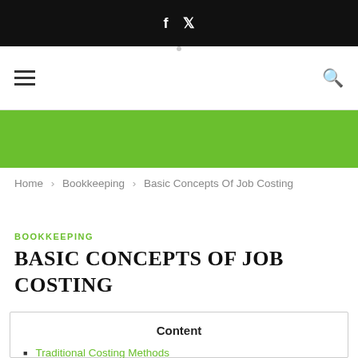f  🐦 (social media icons bar)
≡ (hamburger menu) | 🔍 (search icon)
[Figure (other): Green banner/header image area]
Home > Bookkeeping > Basic Concepts Of Job Costing
BOOKKEEPING
BASIC CONCEPTS OF JOB COSTING
Content
Traditional Costing Methods